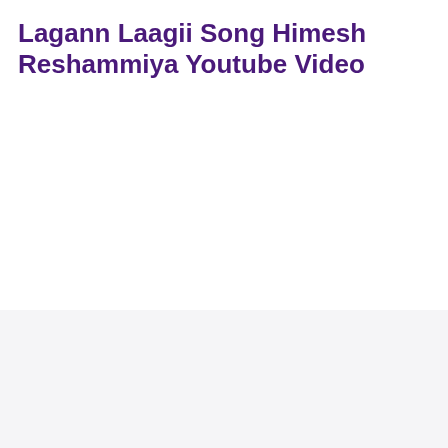Lagann Laagii Song Himesh Reshammiya Youtube Video
We use cookies to give you the best possible experience. By continuing to visit our website, you agree to the use of cookies as described in our Cookie Policy